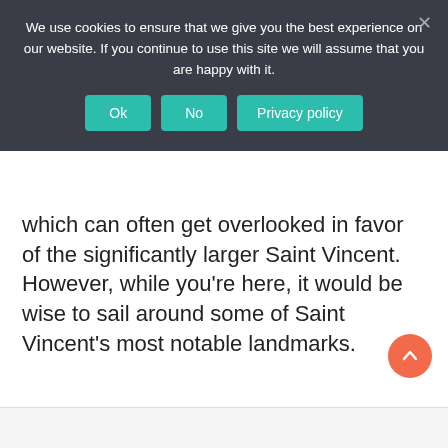[Figure (screenshot): Cookie consent banner with dark background (#3a3d47), containing message text, and three teal buttons: Ok, No, Privacy policy. A close (×) button is in the top-right corner.]
which can often get overlooked in favor of the significantly larger Saint Vincent. However, while you're here, it would be wise to sail around some of Saint Vincent's most notable landmarks.
[Figure (infographic): Orange circular scroll-to-top button with an upward chevron arrow, positioned in the bottom-right of the page.]